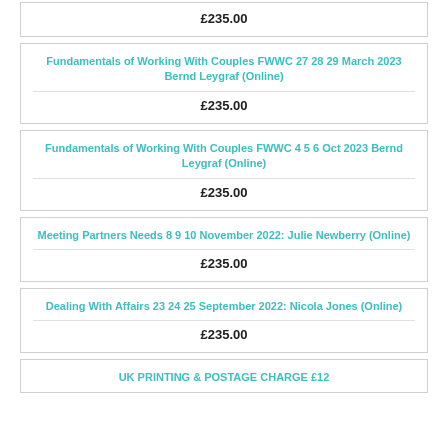£235.00
Fundamentals of Working With Couples FWWC 27 28 29 March 2023 Bernd Leygraf (Online)
£235.00
Fundamentals of Working With Couples FWWC 4 5 6 Oct 2023 Bernd Leygraf (Online)
£235.00
Meeting Partners Needs 8 9 10 November 2022: Julie Newberry (Online)
£235.00
Dealing With Affairs 23 24 25 September 2022: Nicola Jones (Online)
£235.00
UK PRINTING & POSTAGE CHARGE £12